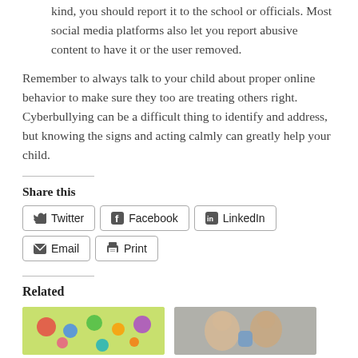kind, you should report it to the school or officials. Most social media platforms also let you report abusive content to have it or the user removed.
Remember to always talk to your child about proper online behavior to make sure they too are treating others right. Cyberbullying can be a difficult thing to identify and address, but knowing the signs and acting calmly can greatly help your child.
Share this
[Figure (infographic): Share buttons for Twitter, Facebook, LinkedIn, Email, and Print]
Related
[Figure (photo): Two related article thumbnail images side by side]